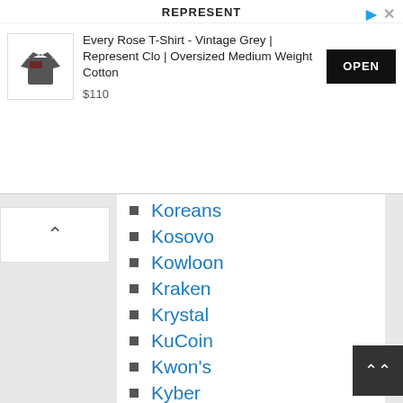[Figure (screenshot): Advertisement banner for Represent clothing store showing a grey t-shirt, product title 'Every Rose T-Shirt - Vintage Grey | Represent Clo | Oversized Medium Weight Cotton', price $110, and an OPEN button]
Koreans
Kosovo
Kowloon
Kraken
Krystal
KuCoin
Kwon's
Kyber
Kylie's
Kyrgyzstan
Labor
Labour